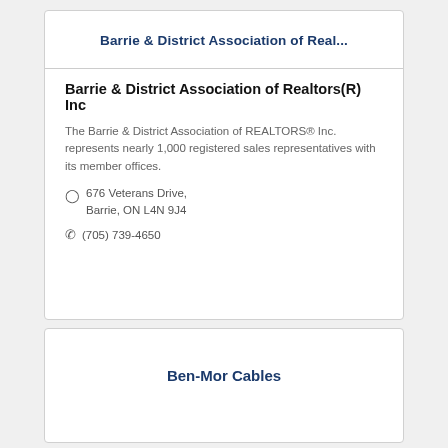Barrie & District Association of Real...
Barrie & District Association of Realtors(R) Inc
The Barrie & District Association of REALTORS® Inc. represents nearly 1,000 registered sales representatives with its member offices.
676 Veterans Drive, Barrie, ON L4N 9J4
(705) 739-4650
Ben-Mor Cables